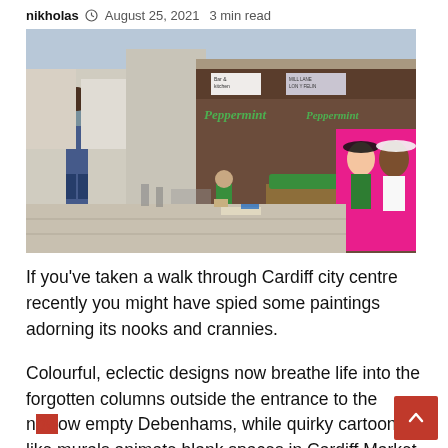nikholas  August 25, 2021  3 min read
[Figure (photo): Street scene in Cardiff city centre showing an artist crouching on the pavement painting a colourful mural on large boards outside a Peppermint bar/kitchen. The mural features two illustrated women in hats on a pink background. A man stands watching nearby.]
If you've taken a walk through Cardiff city centre recently you might have spied some paintings adorning its nooks and crannies.
Colourful, eclectic designs now breathe life into the forgotten columns outside the entrance to the now empty Debenhams, while quirky cartoon-like murals animate blank spaces in Cardiff Market.